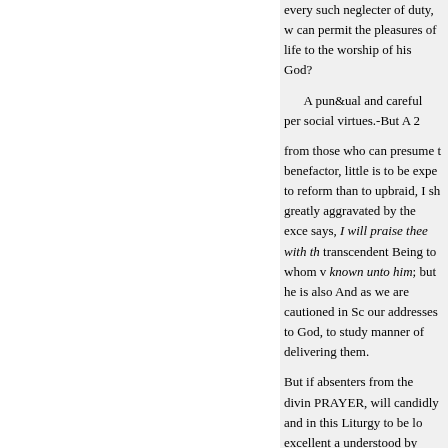every such neglecter of duty, w can permit the pleasures of life to the worship of his God?
A pun&ual and careful per social virtues.-But A 2
from those who can presume t benefactor, little is to be expe to reform than to upbraid, I sh greatly aggravated by the exce says, I will praise thee with th transcendent Being to whom v known unto him; but he is also And as we are cautioned in Sc our addresses to God, to study manner of delivering them.
But if absenters from the divin PRAYER, will candidly and in this Liturgy to be lo excellent a understood by those of the nie concise, that no devout man ca method accurate, and all the ex